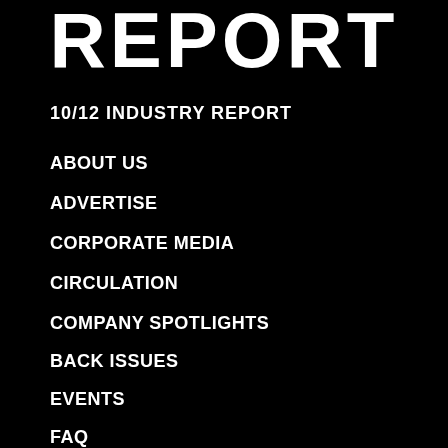REPORT
10/12 INDUSTRY REPORT
ABOUT US
ADVERTISE
CORPORATE MEDIA
CIRCULATION
COMPANY SPOTLIGHTS
BACK ISSUES
EVENTS
FAQ
OUR BRANDS